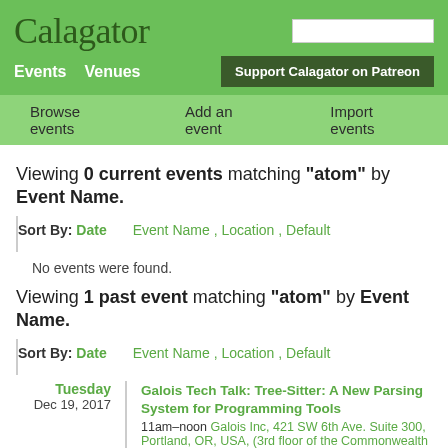Calagator
Events  Venues  Support Calagator on Patreon
Browse events  Add an event  Import events
Viewing 0 current events matching "atom" by Event Name.
Sort By: Date | Event Name , Location , Default
No events were found.
Viewing 1 past event matching "atom" by Event Name.
Sort By: Date | Event Name , Location , Default
Tuesday Dec 19, 2017 | Galois Tech Talk: Tree-Sitter: A New Parsing System for Programming Tools | 11am–noon Galois Inc, 421 SW 6th Ave. Suite 300, Portland, OR, USA, (3rd floor of the Commonwealth building)